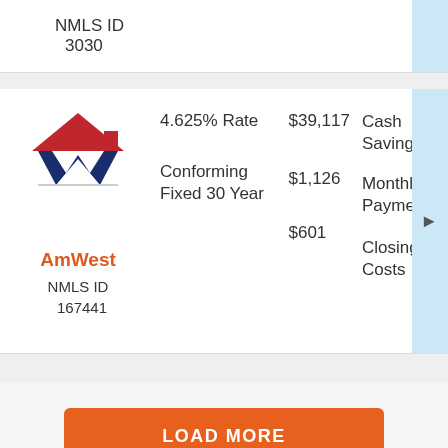NMLS ID
3030
[Figure (logo): AmWest mortgage company logo — red house roof shape over dark blue W letterform]
AmWest
NMLS ID
167441
4.625% Rate
Conforming Fixed 30 Year
$39,117
$1,126
$601
Cash Savings
Monthly Payment
Closing Costs
LOAD MORE